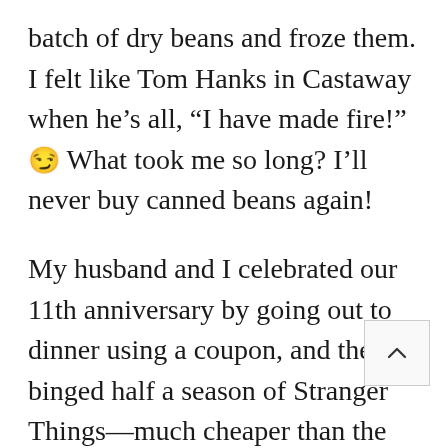batch of dry beans and froze them. I felt like Tom Hanks in Castaway when he's all, “I have made fire!” 😏 What took me so long? I’ll never buy canned beans again!
My husband and I celebrated our 11th anniversary by going out to dinner using a coupon, and then binged half a season of Stranger Things—much cheaper than the bed and breakfast we had previously discussed!
We ordered a replacement gasket for our